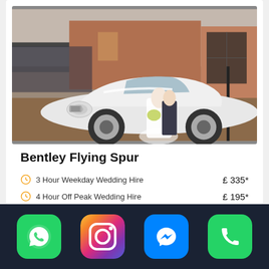[Figure (photo): Wedding couple standing in front of a white Bentley Flying Spur car outside a brick building. Bride in white dress holding bouquet, groom in dark suit.]
Bentley Flying Spur
3 Hour Weekday Wedding Hire   £ 335*
4 Hour Off Peak Wedding Hire   £ 195*
[Figure (infographic): Bottom navigation bar with four app icons: WhatsApp (green), Instagram (gradient pink/purple), Facebook Messenger (blue), Phone (green)]